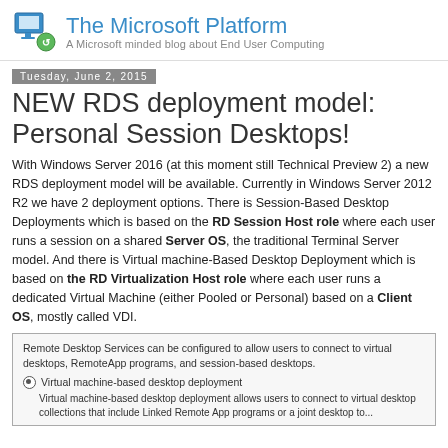The Microsoft Platform — A Microsoft minded blog about End User Computing
Tuesday, June 2, 2015
NEW RDS deployment model: Personal Session Desktops!
With Windows Server 2016 (at this moment still Technical Preview 2) a new RDS deployment model will be available. Currently in Windows Server 2012 R2 we have 2 deployment options. There is Session-Based Desktop Deployments which is based on the RD Session Host role where each user runs a session on a shared Server OS, the traditional Terminal Server model. And there is Virtual machine-Based Desktop Deployment which is based on the RD Virtualization Host role where each user runs a dedicated Virtual Machine (either Pooled or Personal) based on a Client OS, mostly called VDI.
[Figure (screenshot): Screenshot of Windows Remote Desktop Services configuration dialog showing options: 'Remote Desktop Services can be configured to allow users to connect to virtual desktops, RemoteApp programs, and session-based desktops.' with a selected radio button for 'Virtual machine-based desktop deployment' and descriptive text below it.]